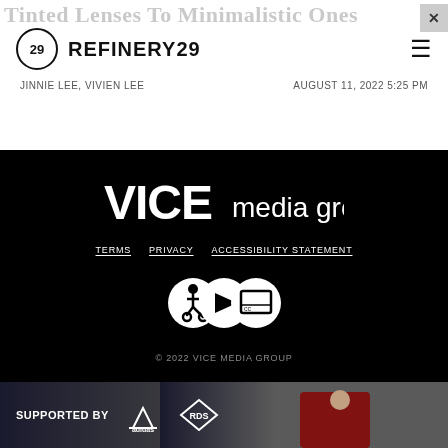Tinted Lenses To Minimalistic Ones
REFINERY29
JINNIE LEE, VIVIEN LEE    AUGUST 11, 2022 5:25 PM
[Figure (logo): VICE media group logo in white on black background]
TERMS
PRIVACY
ACCESSIBILITY STATEMENT
[Figure (illustration): Accessibility icons showing wheelchair, play, and screen symbols in overlapping circles]
© 2022 VICE MEDIA GROUP
[Figure (photo): Advertisement banner: SUPPORTED BY adidas and RDS logos, with crowd photo in background]